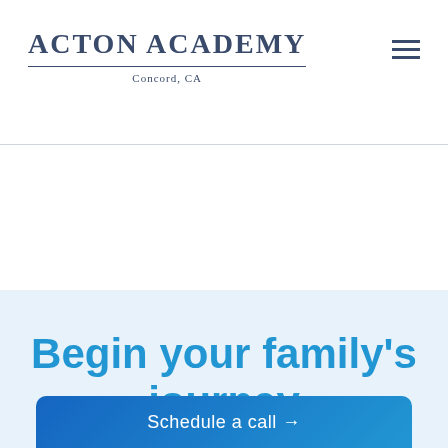ACTON ACADEMY Concord, CA
Begin your family's journey
Schedule a call →